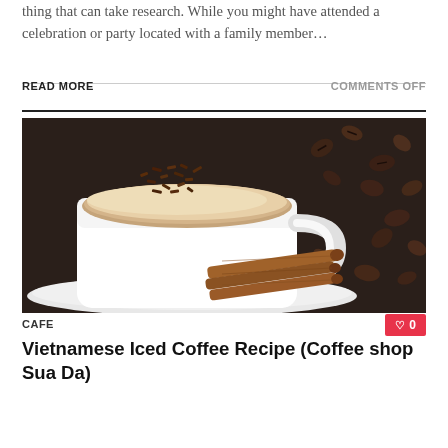thing that can take research. While you might have attended a celebration or party located with a family member…
READ MORE
COMMENTS OFF
[Figure (photo): A white coffee mug filled with cappuccino topped with chocolate shavings, placed on a white saucer with cinnamon sticks beside it, surrounded by scattered coffee beans on a dark wooden surface.]
CAFE
0
Vietnamese Iced Coffee Recipe (Coffee shop Sua Da)